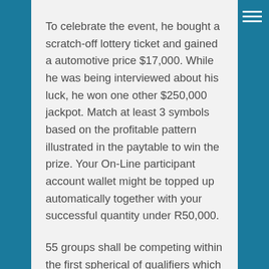To celebrate the event, he bought a scratch-off lottery ticket and gained a automotive price $17,000. While he was being interviewed about his luck, he won one other $250,000 jackpot. Match at least 3 symbols based on the profitable pattern illustrated in the paytable to win the prize. Your On-Line participant account wallet might be topped up automatically together with your successful quantity under R50,000.
55 groups shall be competing within the first spherical of qualifiers which is able